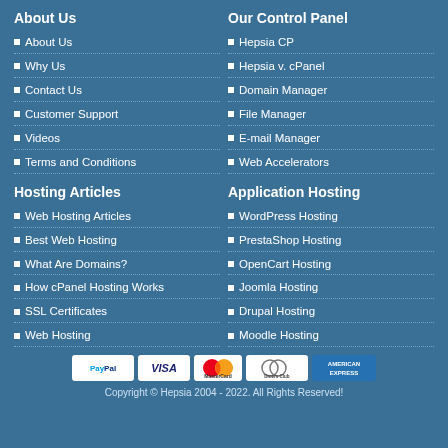About Us
About Us
Why Us
Contact Us
Customer Support
Videos
Terms and Conditions
Our Control Panel
Hepsia CP
Hepsia v. cPanel
Domain Manager
File Manager
E-mail Manager
Web Accelerators
Hosting Articles
Web Hosting Articles
Best Web Hosting
What Are Domains?
How cPanel Hosting Works
SSL Certificates
Web Hosting
Application Hosting
WordPress Hosting
PrestaShop Hosting
OpenCart Hosting
Joomla Hosting
Drupal Hosting
Moodle Hosting
[Figure (other): Payment method logos: PayPal, VISA, MasterCard, Diners Club, American Express]
Copyright © Hepsia 2004 - 2022. All Rights Reserved!